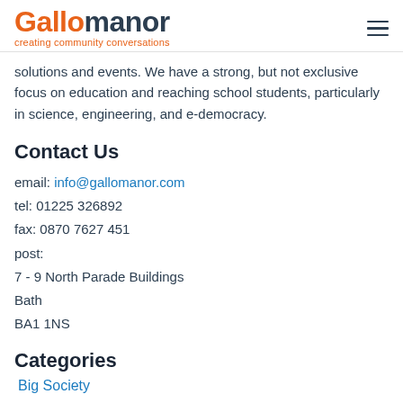Gallomanor — creating community conversations
solutions and events. We have a strong, but not exclusive focus on education and reaching school students, particularly in science, engineering, and e-democracy.
Contact Us
email: info@gallomanor.com
tel: 01225 326892
fax: 0870 7627 451
post:
7 - 9 North Parade Buildings
Bath
BA1 1NS
Categories
Big Society